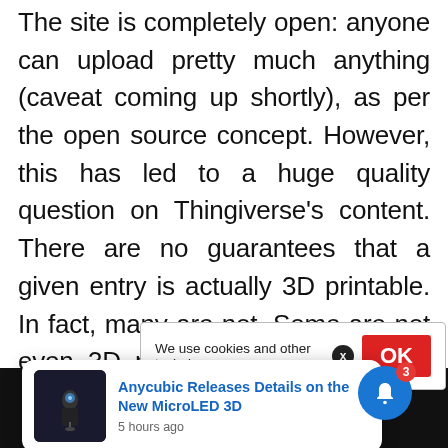The site is completely open: anyone can upload pretty much anything (caveat coming up shortly), as per the open source concept. However, this has led to a huge quality question on Thingiverse's content. There are no guarantees that a given entry is actually 3D printable. In fact, many are not. Some are not even 3D models, as the site was originally conceived as a “making” site containing laser cuts, etc.
[Figure (screenshot): Cookie consent bar with text 'We use cookies and other techniques', an X close button, and a red OK button]
[Figure (screenshot): Browser notification popup showing 'Anycubic Releases Details on the New MicroLED 3D' with a dark printer image thumbnail and timestamp '5 hours ago', plus a blue notification bell icon with badge showing 3]